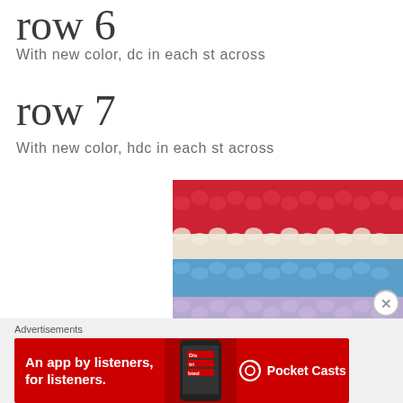row 6
With new color, dc in each st across
row 7
With new color, hdc in each st across
[Figure (photo): Close-up photo of colorful crochet fabric showing multiple rows in red, cream/white, blue, and lavender/purple colors]
Advertisements
[Figure (other): Pocket Casts advertisement banner: 'An app by listeners, for listeners.' with phone graphic and Pocket Casts logo on red background]